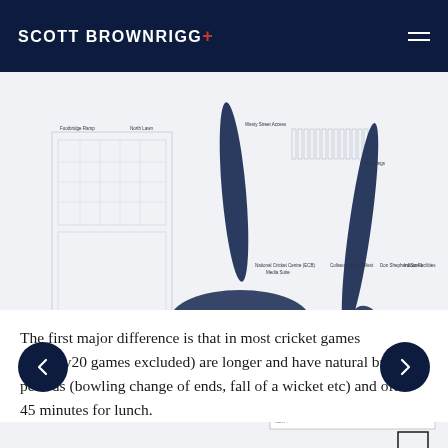SCOTT BROWNRIGG+
[Figure (schematic): Proposed Site Plan architectural drawing for Glamorgan Cricket Club SWALEC Stadium, Sophia Gardens, Cardiff. Shows an overhead site plan with dark navy elliptical/blade shapes representing design elements, building footprints, car parks, and access roads with annotation labels. Includes a title block reading 'Proposed Site Plan' with project details.]
The first major difference is that in most cricket games (Twenty20 games excluded) are longer and have natural break periods (bowling change of ends, fall of a wicket etc) and often 45 minutes for lunch.